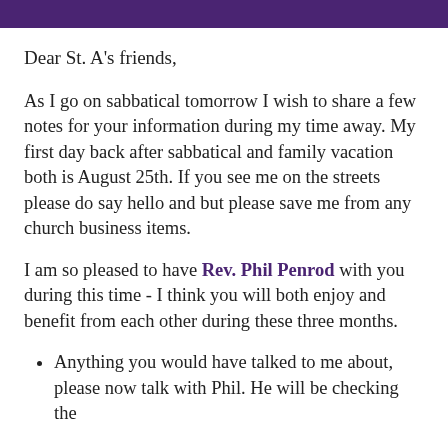Dear St. A's friends,
As I go on sabbatical tomorrow I wish to share a few notes for your information during my time away.  My first day back after sabbatical and family vacation both is August 25th.  If you see me on the streets please do say hello and but please save me from any church business items.
I am so pleased to have Rev. Phil Penrod with you during this time - I think you will both enjoy and benefit from each other during these three months.
Anything you would have talked to me about, please now talk with Phil.  He will be checking the